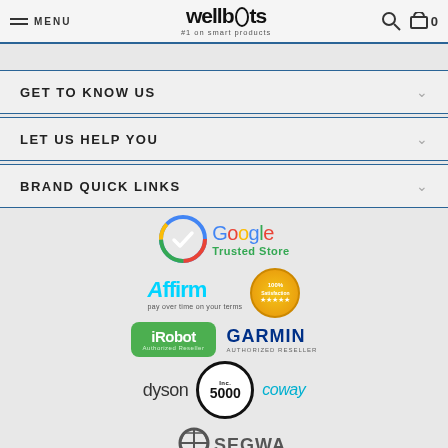MENU | wellbots #1 on smart products | search | cart 0
GET TO KNOW US
LET US HELP YOU
BRAND QUICK LINKS
[Figure (logo): Google Trusted Store badge with Google color logo and checkmark]
[Figure (logo): Affirm logo - pay over time on your terms, and 100% Satisfaction badge]
[Figure (logo): iRobot Authorized Reseller logo and Garmin Authorized Reseller logo]
[Figure (logo): Dyson logo, Inc. 5000 badge, and Coway logo]
[Figure (logo): Segway logo (partial, cut off at bottom)]